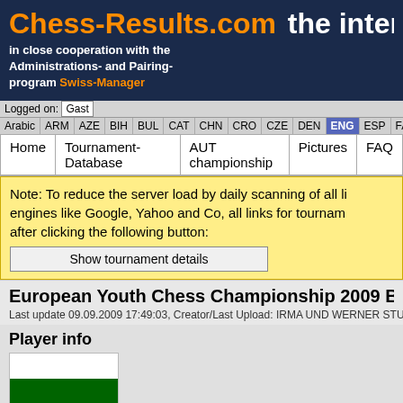Chess-Results.com  the internatio
in close cooperation with the Administrations- and Pairing-program Swiss-Manager
Logged on: Gast
Arabic | ARM | AZE | BIH | BUL | CAT | CHN | CRO | CZE | DEN | ENG | ESP | FAI | FIN | FRA | GER | GRE | INA
Home | Tournament-Database | AUT championship | Pictures | FAQ
Note: To reduce the server load by daily scanning of all li engines like Google, Yahoo and Co, all links for tourname after clicking the following button:
Show tournament details
European Youth Chess Championship 2009 Bo
Last update 09.09.2009 17:49:03, Creator/Last Upload: IRMA UND WERNER STU
Player info
[Figure (illustration): Bulgarian flag showing three horizontal stripes: white, green, red]
| Name | Petrov Vladimir |
| Starting rank | 18 |
| Rating | 1677 |